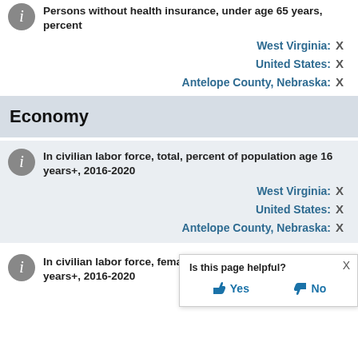Persons without health insurance, under age 65 years, percent
West Virginia: X
United States: X
Antelope County, Nebraska: X
Economy
In civilian labor force, total, percent of population age 16 years+, 2016-2020
West Virginia: X
United States: X
Antelope County, Nebraska: X
In civilian labor force, female, percent of population age 16 years+, 2016-2020
West Virginia: X
Is this page helpful? Yes No